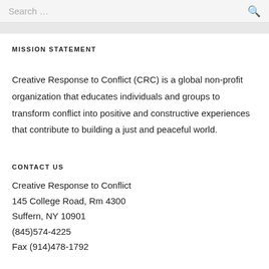Search …
MISSION STATEMENT
Creative Response to Conflict (CRC) is a global non-profit organization that educates individuals and groups to transform conflict into positive and constructive experiences that contribute to building a just and peaceful world.
CONTACT US
Creative Response to Conflict
145 College Road, Rm 4300
Suffern, NY 10901
(845)574-4225
Fax (914)478-1792